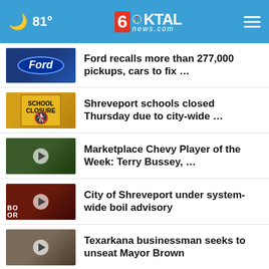[Figure (screenshot): KTAL NBC6 News website header with moon icon, 81° temperature, KTAL news.com logo, and hamburger menu on blue background]
Ford recalls more than 277,000 pickups, cars to fix …
Shreveport schools closed Thursday due to city-wide …
Marketplace Chevy Player of the Week: Terry Bussey, …
City of Shreveport under system-wide boil advisory
Texarkana businessman seeks to unseat Mayor Brown
Avoid surprises at the polls: Check your voter registration